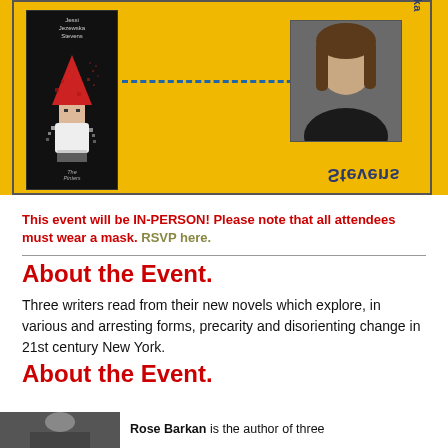[Figure (illustration): Event banner with yellow background showing a book cover (The Pinters by Jessi Jezewska Stevens) with a gnome figure on the left, a dashed blue line connecting to a photo of the author on the right, with rotated author name text.]
This event will be IN-PERSON! Please note that all attendees must wear a mask. RSVP here.
About the Event.
Three writers read from their new novels which explore, in various and arresting forms, precarity and disorienting change in 21st century New York.
About the Event.
Rose Barkan is the author of three